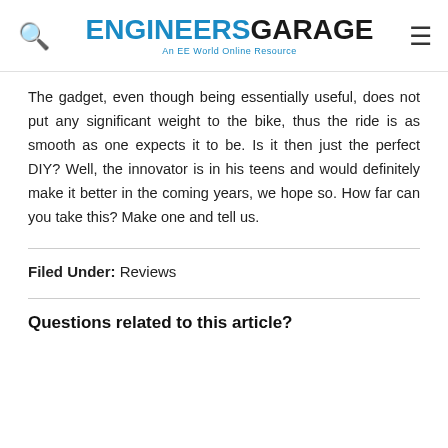ENGINEERS GARAGE — An EE World Online Resource
The gadget, even though being essentially useful, does not put any significant weight to the bike, thus the ride is as smooth as one expects it to be. Is it then just the perfect DIY? Well, the innovator is in his teens and would definitely make it better in the coming years, we hope so. How far can you take this? Make one and tell us.
Filed Under: Reviews
Questions related to this article?